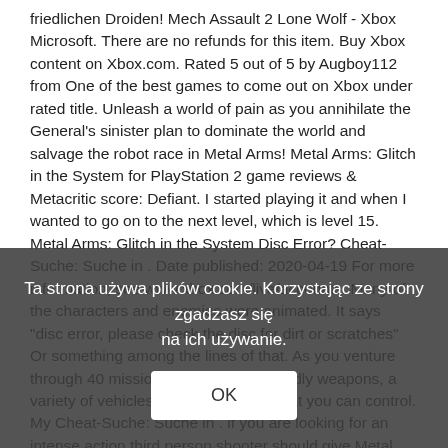friedlichen Droiden! Mech Assault 2 Lone Wolf - Xbox Microsoft. There are no refunds for this item. Buy Xbox content on Xbox.com. Rated 5 out of 5 by Augboy112 from One of the best games to come out on Xbox under rated title. Unleash a world of pain as you annihilate the General's sinister plan to dominate the world and salvage the robot race in Metal Arms! Metal Arms: Glitch in the System for PlayStation 2 game reviews & Metacritic score: Defiant. I started playing it and when I wanted to go on to the next level, which is level 15. Metal Arms: Glitch in the System Disc Error? Cheat-Suche: Suche in . Date published: 2020-04-19 For more information, see www.xbox.com/live/accounts. Many of the characters and enemies were animated. It says "disc error, please check the disc for dirt or scratches" Or something among the lines of that. As you venture through 40 missions, you'll find 17 deadly weapons, a variety of vehicles, and enemy bots that you can control. My Cheat-Suche: Suche in . if you are looking for an intense action third person shooter should give Metal Arms a try. While the Metal Arms had critical acclaim, it underperformed commercially. Metal Arms 2 was intended to be the second of two games that would follow the original
Ta strona używa plików cookie. Korzystając ze strony zgadzasz się na ich używanie.